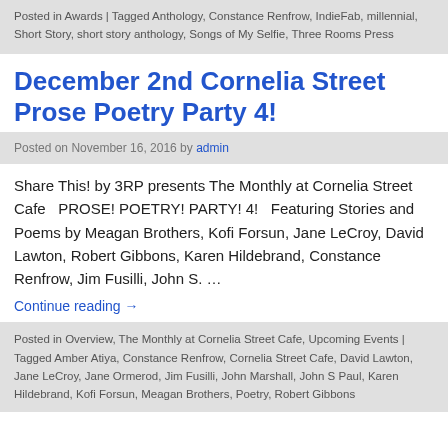Posted in Awards | Tagged Anthology, Constance Renfrow, IndieFab, millennial, Short Story, short story anthology, Songs of My Selfie, Three Rooms Press
December 2nd Cornelia Street Prose Poetry Party 4!
Posted on November 16, 2016 by admin
Share This! by 3RP presents The Monthly at Cornelia Street Cafe   PROSE! POETRY! PARTY! 4!   Featuring Stories and Poems by Meagan Brothers, Kofi Forsun, Jane LeCroy, David Lawton, Robert Gibbons, Karen Hildebrand, Constance Renfrow, Jim Fusilli, John S. …
Continue reading →
Posted in Overview, The Monthly at Cornelia Street Cafe, Upcoming Events | Tagged Amber Atiya, Constance Renfrow, Cornelia Street Cafe, David Lawton, Jane LeCroy, Jane Ormerod, Jim Fusilli, John Marshall, John S Paul, Karen Hildebrand, Kofi Forsun, Meagan Brothers, Poetry, Robert Gibbons